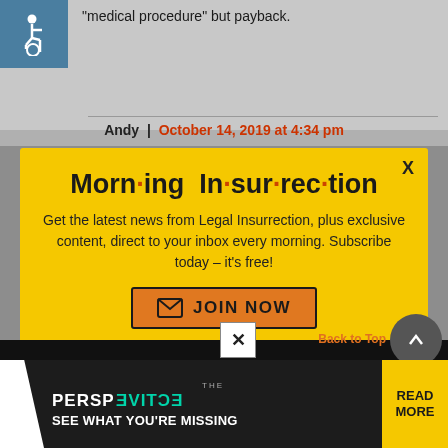“medical procedure” but payback.
Andy | October 14, 2019 at 4:34 pm
[Figure (infographic): Morning Insurrection newsletter popup modal with yellow background. Title reads 'Morn·ing In·sur·rec·tion' with orange dots between syllables. Text: 'Get the latest news from Legal Insurrection, plus exclusive content, direct to your inbox every morning. Subscribe today – it’s free!' Orange JOIN NOW button with envelope icon. X close button in top right.]
[Figure (infographic): Bottom advertisement bar for 'THE PERSPECTIVE' publication with dark background, teal and yellow accents, white shape, text 'SEE WHAT YOU'RE MISSING', READ MORE button in yellow. X close button above.]